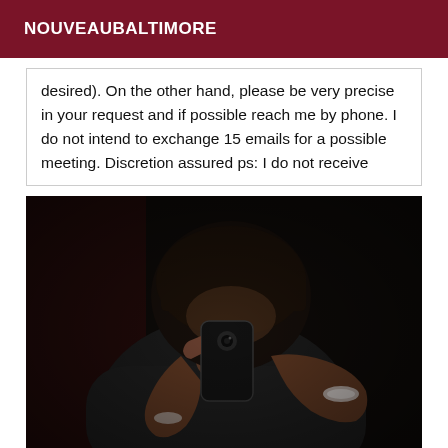NOUVEAUBALTIMORE
desired). On the other hand, please be very precise in your request and if possible reach me by phone. I do not intend to exchange 15 emails for a possible meeting. Discretion assured ps: I do not receive
[Figure (photo): Dark mirror selfie photo of a person with dark hair and bangs, wearing a black top, holding a smartphone taking a selfie, also wearing a bracelet. Background is very dark/black.]